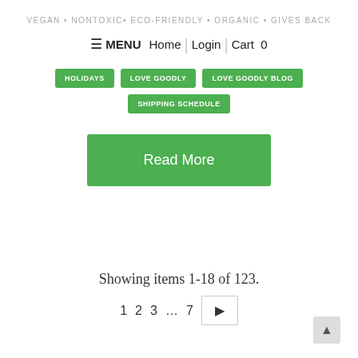VEGAN • NONTOXIC• ECO-FRIENDLY • ORGANIC • GIVES BACK
≡ MENU  Home | Login |  Cart  0
HOLIDAYS
LOVE GOODLY
LOVE GOODLY BLOG
SHIPPING SCHEDULE
Read More
Showing items 1-18 of 123.
1  2  3  ...  7  ▶